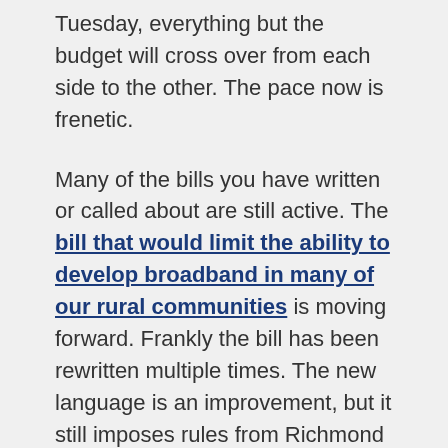Tuesday, everything but the budget will cross over from each side to the other. The pace now is frenetic.
Many of the bills you have written or called about are still active. The bill that would limit the ability to develop broadband in many of our rural communities is moving forward. Frankly the bill has been rewritten multiple times. The new language is an improvement, but it still imposes rules from Richmond on local zoning authority. Because I don't like top-down management, I will vote no.
Another bill that generated some interest will